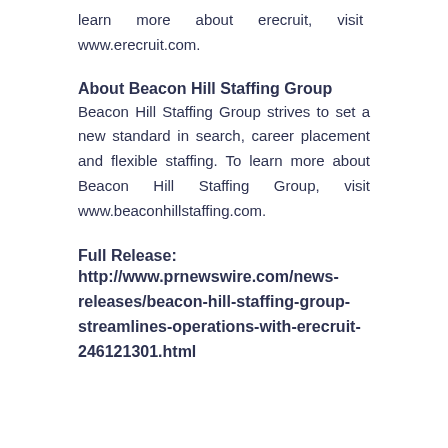learn more about erecruit, visit www.erecruit.com.
About Beacon Hill Staffing Group
Beacon Hill Staffing Group strives to set a new standard in search, career placement and flexible staffing. To learn more about Beacon Hill Staffing Group, visit www.beaconhillstaffing.com.
Full Release: http://www.prnewswire.com/news-releases/beacon-hill-staffing-group-streamlines-operations-with-erecruit-246121301.html